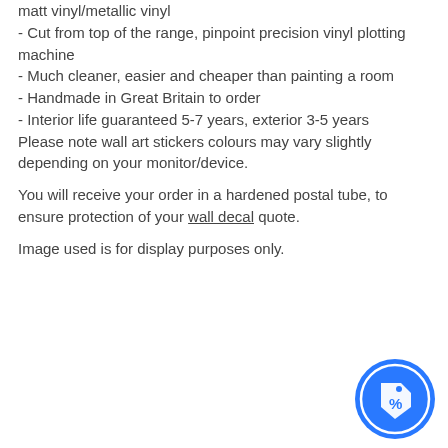matt vinyl/metallic vinyl
- Cut from top of the range, pinpoint precision vinyl plotting machine
- Much cleaner, easier and cheaper than painting a room
- Handmade in Great Britain to order
- Interior life guaranteed 5-7 years, exterior 3-5 years
Please note wall art stickers colours may vary slightly depending on your monitor/device.
You will receive your order in a hardened postal tube, to ensure protection of your wall decal quote.
Image used is for display purposes only.
[Figure (illustration): Blue circular badge/icon with a price tag and percentage symbol]